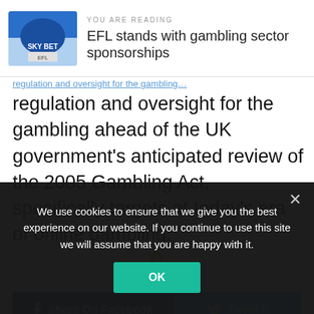YOU ARE READING
EFL stands with gambling sector sponsorships
regulation and oversight for the gambling ahead of the UK government's anticipated review of the 2005 Gambling Act, specifically targets at today's era of online gambling.
0
SHARES
f Share On Facebook   🐦 Tweet It
We use cookies to ensure that we give you the best experience on our website. If you continue to use this site we will assume that you are happy with it.